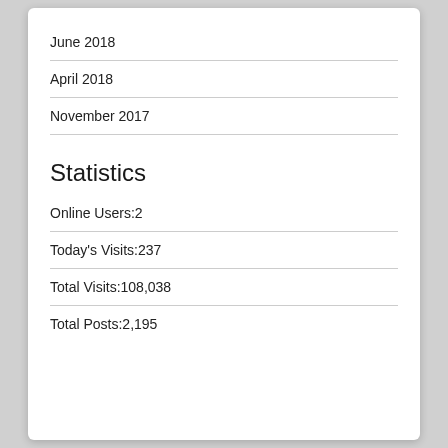June 2018
April 2018
November 2017
Statistics
Online Users:2
Today's Visits:237
Total Visits:108,038
Total Posts:2,195